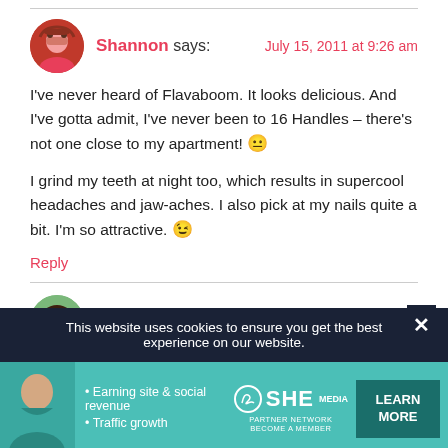[Figure (photo): Shannon avatar photo - woman in pink/red top]
Shannon says:
July 15, 2011 at 9:26 am
I've never heard of Flavaboom. It looks delicious. And I've gotta admit, I've never been to 16 Handles – there's not one close to my apartment! 😐
I grind my teeth at night too, which results in supercool headaches and jaw-aches. I also pick at my nails quite a bit. I'm so attractive. 😉
Reply
[Figure (photo): Emily avatar photo - partial view]
Emily says:
July 15, 2011 at 9:20 am
This website uses cookies to ensure you get the best experience on our website.
[Figure (infographic): SHE Partner Network advertisement banner - Earning site & social revenue, Traffic growth, LEARN MORE button]